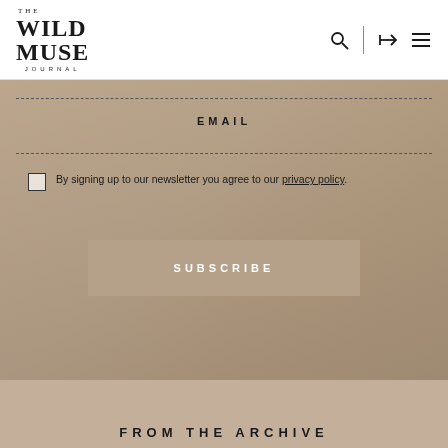[Figure (logo): The Wild Muse Journal logo - stylized text logo with 'THE' at top, 'WILD MUSE' in large serif text, 'JOURNAL' in small spaced capitals below]
EMAIL
By signing up to our newsletter you agree to our privacy policy.
SUBSCRIBE
FROM THE ARCHIVE